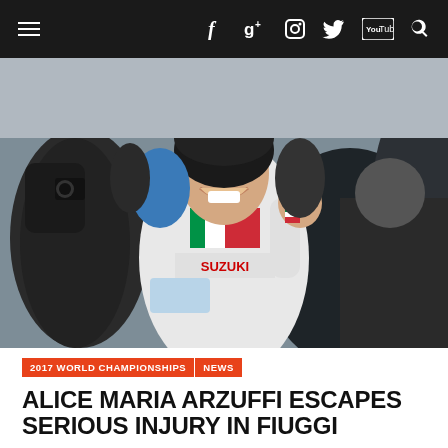Navigation bar with menu, social icons (Facebook, Google+, Instagram, Twitter, YouTube), and search
[Figure (photo): Cyclist Alice Maria Arzuffi in Italian national team kit (white with green/red/white Italian flag design, Suzuki sponsor), wearing a black helmet with green visor, giving a thumbs up and smiling broadly. Surrounded by spectators and photographers in cold winter weather. The rider is covered in mud from the cyclocross race.]
2017 WORLD CHAMPIONSHIPS | NEWS
ALICE MARIA ARZUFFI ESCAPES SERIOUS INJURY IN FIUGGI
The first serious crash of the Elite races at the brutal Fiuggi UCI